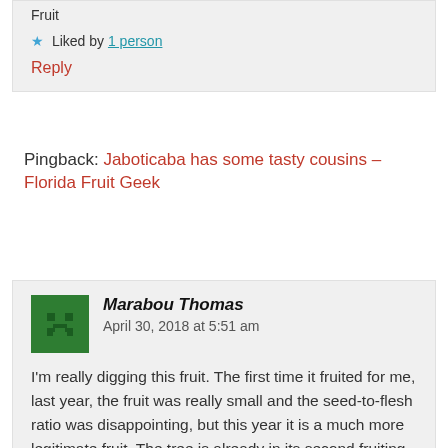Fruit
★ Liked by 1 person
Reply
Pingback: Jaboticaba has some tasty cousins – Florida Fruit Geek
Marabou Thomas   April 30, 2018 at 5:51 am
I'm really digging this fruit. The first time it fruited for me, last year, the fruit was really small and the seed-to-flesh ratio was disappointing, but this year it is a much more legitimate fruit. The tree is already in its second fruiting of the year, and is loaded. Excellent contrast of flavours between peel